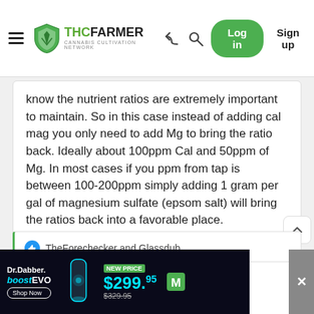THCFarmer - Cannabis Cultivation Network | Log in | Sign up
know the nutrient ratios are extremely important to maintain. So in this case instead of adding cal mag you only need to add Mg to bring the ratio back. Ideally about 100ppm Cal and 50ppm of Mg. In most cases if you ppm from tap is between 100-200ppm simply adding 1 gram per gal of magnesium sulfate (epsom salt) will bring the ratios back into a favorable place.
TheForechecker and Glassdub
TheForechecker
[Figure (screenshot): Dr.Dabber boostEVO advertisement banner. NEW PRICE $299.95 (was $329.95). Shop Now button.]